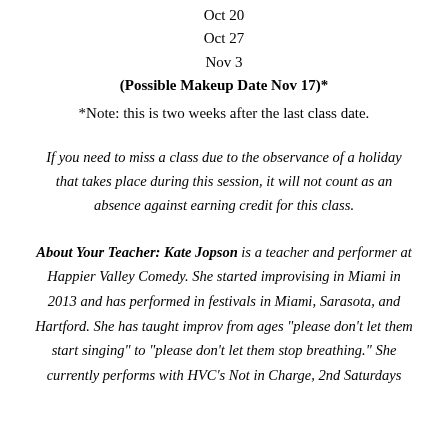Oct 20
Oct 27
Nov 3
(Possible Makeup Date Nov 17)*
*Note: this is two weeks after the last class date.
If you need to miss a class due to the observance of a holiday that takes place during this session, it will not count as an absence against earning credit for this class.
About Your Teacher: Kate Jopson is a teacher and performer at Happier Valley Comedy. She started improvising in Miami in 2013 and has performed in festivals in Miami, Sarasota, and Hartford. She has taught improv from ages "please don't let them start singing" to "please don't let them stop breathing." She currently performs with HVC's Not in Charge, 2nd Saturdays